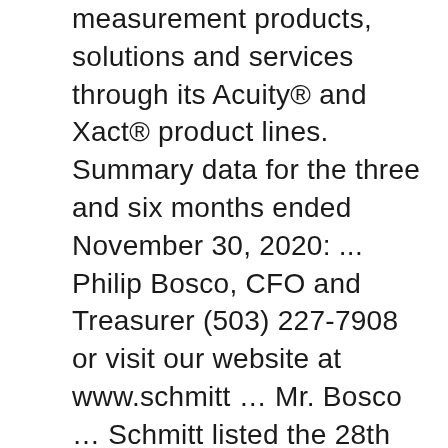measurement products, solutions and services through its Acuity® and Xact® product lines. Summary data for the three and six months ended November 30, 2020: ... Philip Bosco, CFO and Treasurer (503) 227-7908 or visit our website at www.schmitt … Mr. Bosco … Schmitt listed the 28th Street building for sale on December 18, 2020. "We are excited to welcome Philip to the Schmitt … Mr. Bosco has over 25 years of financial experience with extensive hands-on experience in wide breadth of industries. Web Site Terms of Use  |  Perhaps more importantly, Capitol Bancorp achieved these financial results simultaneously with another significant milestone: … Philip Bosco: Schmitt Industries, Inc. Name and Address of Reporting Person * Bosco Philip: 2. Salesians of Don Bosco E-Service 01.28.10; The Republic (AP) 09.04.13; John Doe v Fr Sean Rooney SDB et al 12.16.13 Assignment to PA on Assignment...